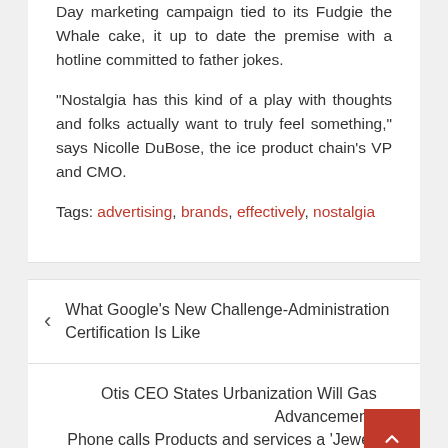Day marketing campaign tied to its Fudgie the Whale cake, it up to date the premise with a hotline committed to father jokes.
“Nostalgia has this kind of a play with thoughts and folks actually want to truly feel something,” says Nicolle DuBose, the ice product chain’s VP and CMO.
Tags: advertising, brands, effectively, nostalgia
What Google’s New Challenge-Administration Certification Is Like
Otis CEO States Urbanization Will Gas Advancement, Phone calls Products and services a ‘Jewel’